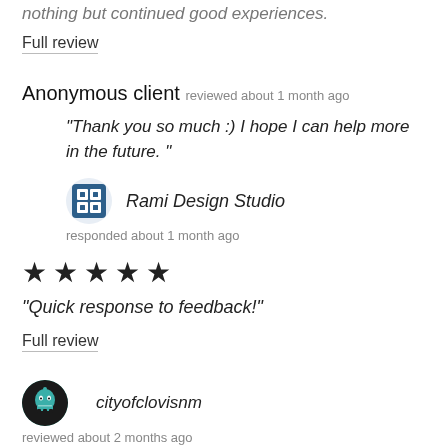nothing but continued good experiences.
Full review
Anonymous client reviewed about 1 month ago
"Thank you so much :) I hope I can help more in the future. "
[Figure (logo): Rami Design Studio logo icon - blue square with design elements]
Rami Design Studio
responded about 1 month ago
[Figure (other): Five black star rating icons]
"Quick response to feedback!"
Full review
[Figure (other): cityofclovisnm avatar - dark circle with teal ghost-like character]
cityofclovisnm
reviewed about 2 months ago